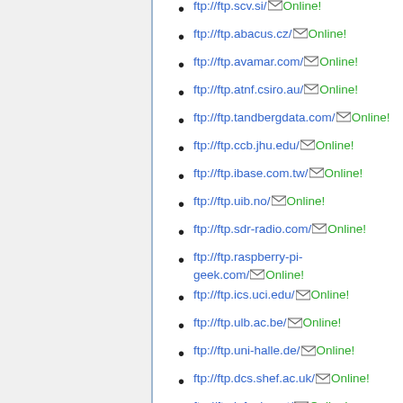ftp://ftp.scv.si/ Online!
ftp://ftp.abacus.cz/ Online!
ftp://ftp.avamar.com/ Online!
ftp://ftp.atnf.csiro.au/ Online!
ftp://ftp.tandbergdata.com/ Online!
ftp://ftp.ccb.jhu.edu/ Online!
ftp://ftp.ibase.com.tw/ Online!
ftp://ftp.uib.no/ Online!
ftp://ftp.sdr-radio.com/ Online!
ftp://ftp.raspberry-pi-geek.com/ Online!
ftp://ftp.ics.uci.edu/ Online!
ftp://ftp.ulb.ac.be/ Online!
ftp://ftp.uni-halle.de/ Online!
ftp://ftp.dcs.shef.ac.uk/ Online!
ftp://ftp.infania.net/ Online!
ftp://ftp.msan.hr/ Online!
ftp://ftp.rtems.org/ Online!
ftp://ftp.omega.com/ Online!
ftp://ftp.draytek.pl/ Online!